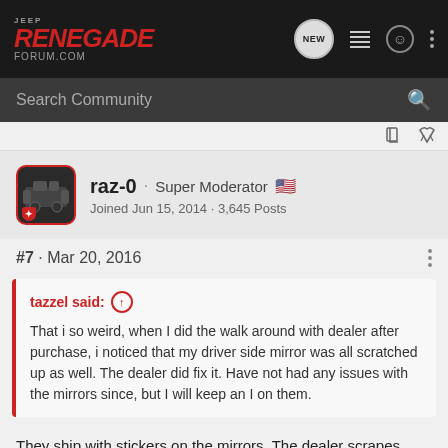Jeep Renegade Forum.com
Search Community
raz-0 · Super Moderator
Joined Jun 15, 2014 · 3,645 Posts
#7 · Mar 20, 2016
tazzel said: ↑
That i so weird, when I did the walk around with dealer after purchase, i noticed that my driver side mirror was all scratched up as well. The dealer did fix it. Have not had any issues with the mirrors since, but I will keep an I on them.
They ship with stickers on the mirrors. The dealer scrapes them off so they can be test driven. The mirrors are soft plastic, not